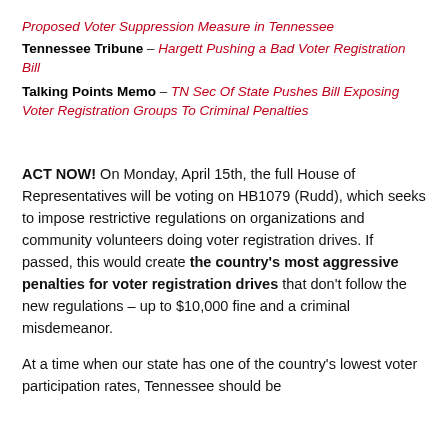Proposed Voter Suppression Measure in Tennessee
Tennessee Tribune – Hargett Pushing a Bad Voter Registration Bill
Talking Points Memo – TN Sec Of State Pushes Bill Exposing Voter Registration Groups To Criminal Penalties
ACT NOW! On Monday, April 15th, the full House of Representatives will be voting on HB1079 (Rudd), which seeks to impose restrictive regulations on organizations and community volunteers doing voter registration drives. If passed, this would create the country's most aggressive penalties for voter registration drives that don't follow the new regulations – up to $10,000 fine and a criminal misdemeanor.
At a time when our state has one of the country's lowest voter participation rates, Tennessee should be